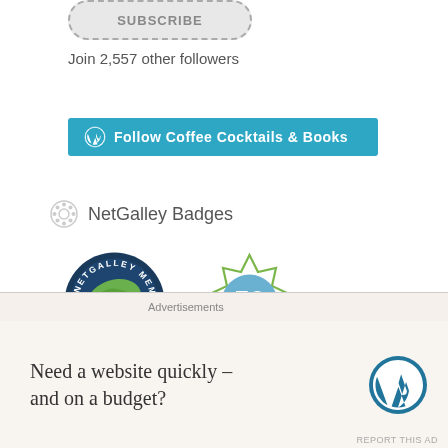[Figure (other): Subscribe button — rounded rectangle with dashed border, grey background, text SUBSCRIBE]
Join 2,557 other followers
[Figure (other): Blue WordPress Follow button: Follow Coffee Cocktails & Books]
NetGalley Badges
[Figure (other): NetGalley Member Professional Reader badge (dark blue circle with green swirl) and 50 Reviews badge (green geometric star outline with blue circle)]
Most Recent BookTube Video
Advertisements
Need a website quickly – and on a budget?